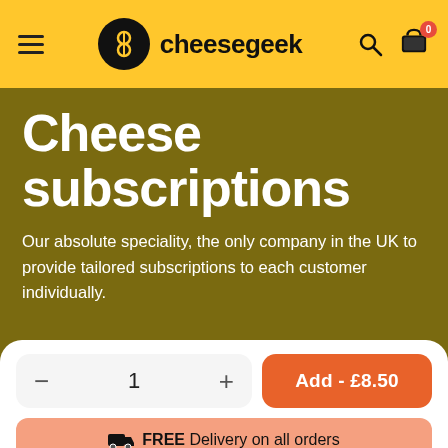cheesegeek
Cheese subscriptions
Our absolute speciality, the only company in the UK to provide tailored subscriptions to each customer individually.
Add - £8.50
FREE Delivery on all orders